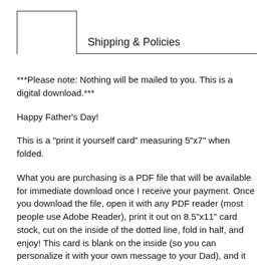Shipping & Policies
***Please note: Nothing will be mailed to you. This is a digital download.***
Happy Father's Day!
This is a "print it yourself card" measuring 5"x7" when folded.
What you are purchasing is a PDF file that will be available for immediate download once I receive your payment. Once you download the file, open it with any PDF reader (most people use Adobe Reader), print it out on 8.5"x11" card stock, cut on the inside of the dotted line, fold in half, and enjoy! This card is blank on the inside (so you can personalize it with your own message to your Dad), and it